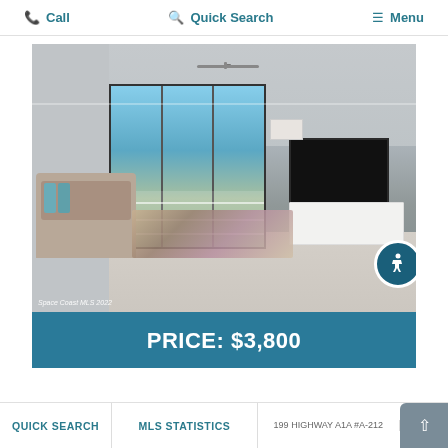Call   Quick Search   Menu
[Figure (photo): Interior photo of a beachfront condo living room with sectional sofa, large TV, sliding glass doors with ocean view, ceiling fan, and area rug. Watermark reads 'Space Coast MLS 2022'. Accessibility icon badge visible.]
PRICE: $3,800
QUICK SEARCH   MLS STATISTICS   199 HIGHWAY A1A #A-212